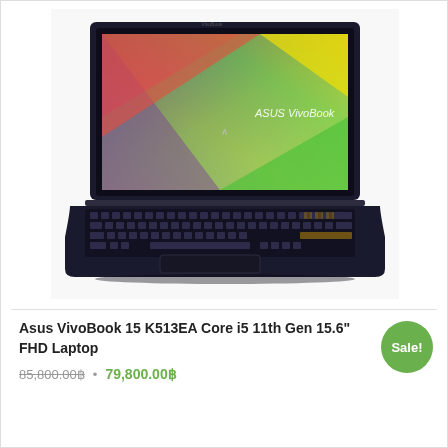[Figure (photo): ASUS VivoBook 15 laptop open showing colorful gradient display (red, orange, yellow, green) with ASUS VivoBook logo on screen, black keyboard and body, viewed from slightly above front angle]
Asus VivoBook 15 K513EA Core i5 11th Gen 15.6" FHD Laptop
85,800.00฿ • 79,800.00฿